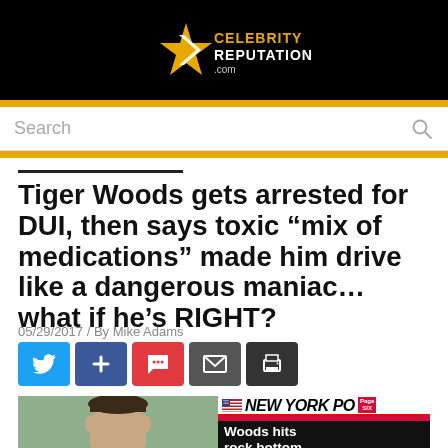[Figure (logo): Celebrity Reputation .com logo with star on black background]
Search
Tiger Woods gets arrested for DUI, then says toxic “mix of medications” made him drive like a dangerous maniac… what if he’s RIGHT?
05/29/2017 / By Mike Adams
[Figure (infographic): Social share buttons: Twitter (blue), Plus/Facebook (blue), Comment (red), Mail (grey), Print (dark grey)]
[Figure (photo): Mugshot photo of Tiger Woods on left; New York Post newspaper front page on right with headline 'Woods hits rock bottom']